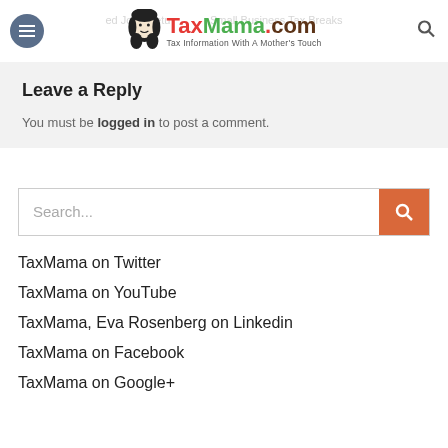TaxMama.com — Tax Information With A Mother's Touch
Leave a Reply
You must be logged in to post a comment.
Search...
TaxMama on Twitter
TaxMama on YouTube
TaxMama, Eva Rosenberg on Linkedin
TaxMama on Facebook
TaxMama on Google+